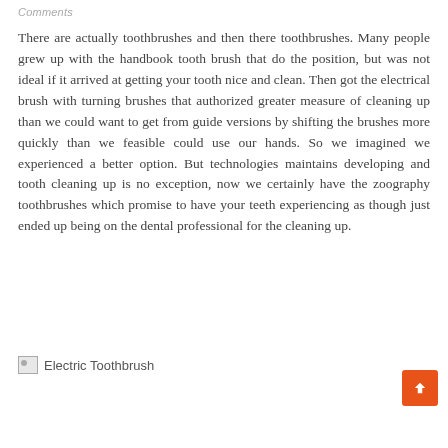Comments
There are actually toothbrushes and then there toothbrushes. Many people grew up with the handbook tooth brush that do the position, but was not ideal if it arrived at getting your tooth nice and clean. Then got the electrical brush with turning brushes that authorized greater measure of cleaning up than we could want to get from guide versions by shifting the brushes more quickly than we feasible could use our hands. So we imagined we experienced a better option. But technologies maintains developing and tooth cleaning up is no exception, now we certainly have the zoography toothbrushes which promise to have your teeth experiencing as though just ended up being on the dental professional for the cleaning up.
[Figure (photo): Broken image placeholder labeled 'Electric Toothbrush']